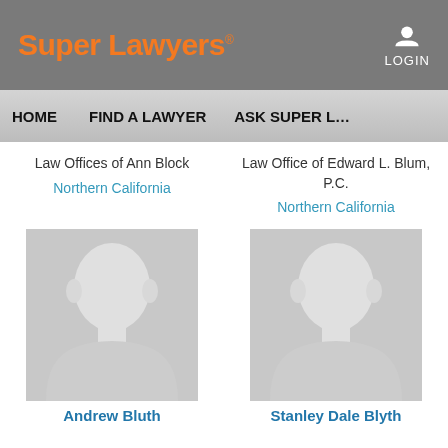Super Lawyers LOGIN
HOME  FIND A LAWYER  ASK SUPER L…
Law Offices of Ann Block
Northern California
Law Office of Edward L. Blum, P.C.
Northern California
[Figure (photo): Placeholder headshot silhouette for Andrew Bluth]
Andrew Bluth
[Figure (photo): Placeholder headshot silhouette for Stanley Dale Blyth]
Stanley Dale Blyth